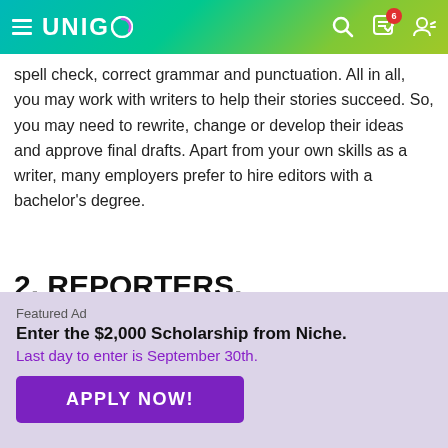UNIGO
spell check, correct grammar and punctuation. All in all, you may work with writers to help their stories succeed. So, you may need to rewrite, change or develop their ideas and approve final drafts. Apart from your own skills as a writer, many employers prefer to hire editors with a bachelor's degree.
2. REPORTERS, CORRESPONDENTS, ADCAST NEWS ANALYSTS
Featured Ad
Enter the $2,000 Scholarship from Niche.
Last day to enter is September 30th.
APPLY NOW!